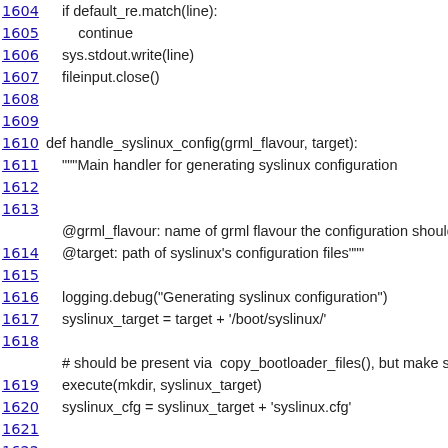1604    if default_re.match(line):
1605        continue
1606    sys.stdout.write(line)
1607    fileinput.close()
1608
1609
1610 def handle_syslinux_config(grml_flavour, target):
1611    """Main handler for generating syslinux configuration
1612
1613
    @grml_flavour: name of grml flavour the configuration should be
1614    @target: path of syslinux's configuration files"""
1615
1616    logging.debug("Generating syslinux configuration")
1617    syslinux_target = target + '/boot/syslinux/'
1618
    # should be present via  copy_bootloader_files(), but make sure it
1619    execute(mkdir, syslinux_target)
1620    syslinux_cfg = syslinux_target + 'syslinux.cfg'
1621
1622
1623
    # install main configuration only *once*, no matter how many ISO
1624    syslinux_config_file = open(syslinux_cfg, 'w')
1625    syslinux_config_file.write("TIMEOUT 300\n")